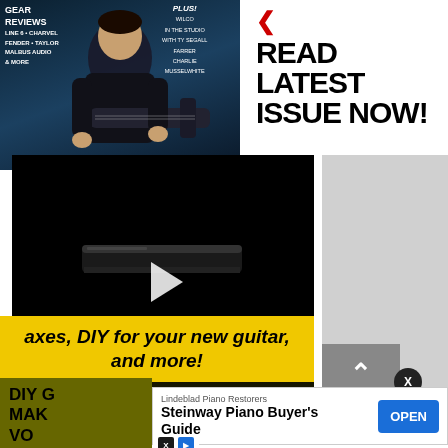[Figure (photo): Magazine cover showing a guitarist in black leather jacket playing guitar, with text overlays for Gear Reviews (Line 6, Charvel, Fender, Taylor, Malbus Audio & More) and Plus! features (Wilco in the Studio with Ty Segall, Farrer, Charlie Musselwhite)]
READ LATEST ISSUE NOW!
[Figure (screenshot): Video player with black background showing a dark guitar accessory/slide bar and a play button in the center]
axes, DIY for your new guitar, and more!
DIY G... MAK... VO...
[Figure (other): Advertisement banner from Lindeblad Piano Restorers: Steinway Piano Buyer's Guide with OPEN button]